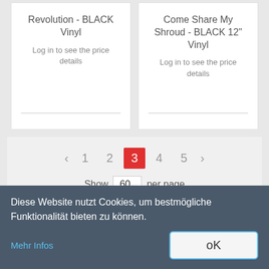Revolution - BLACK Vinyl
Log in to see the price details
Come Share My Shroud - BLACK 12" Vinyl
Log in to see the price details
< 1 2 3 4 5 > Show 60 per page
[Figure (logo): Decorative logo/emblem in light gray]
Diese Website nutzt Cookies, um bestmögliche Funktionalität bieten zu können.
Mehr Infos
oK